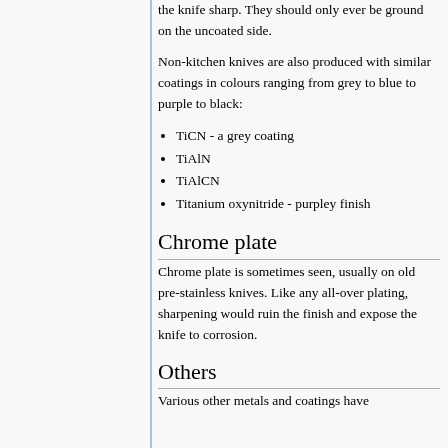the knife sharp. They should only ever be ground on the uncoated side.
Non-kitchen knives are also produced with similar coatings in colours ranging from grey to blue to purple to black:
TiCN - a grey coating
TiAlN
TiAlCN
Titanium oxynitride - purpley finish
Chrome plate
Chrome plate is sometimes seen, usually on old pre-stainless knives. Like any all-over plating, sharpening would ruin the finish and expose the knife to corrosion.
Others
Various other metals and coatings have